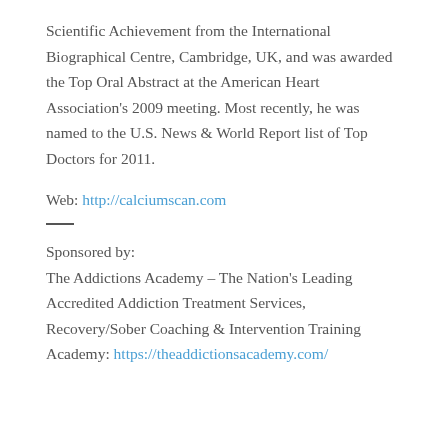Scientific Achievement from the International Biographical Centre, Cambridge, UK, and was awarded the Top Oral Abstract at the American Heart Association's 2009 meeting. Most recently, he was named to the U.S. News & World Report list of Top Doctors for 2011.
Web: http://calciumscan.com
Sponsored by:
The Addictions Academy – The Nation's Leading Accredited Addiction Treatment Services, Recovery/Sober Coaching & Intervention Training Academy: https://theaddictionsacademy.com/